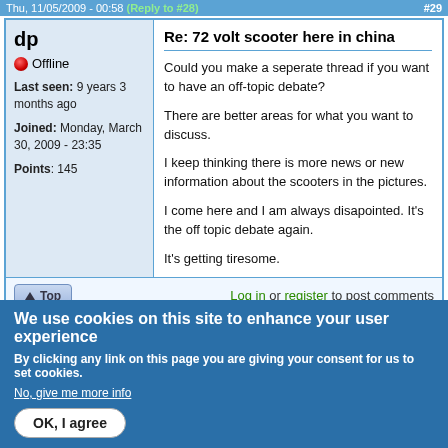Thu, 11/05/2009 - 00:58 (Reply to #28) #29
Re: 72 volt scooter here in china
dp
Offline
Last seen: 9 years 3 months ago
Joined: Monday, March 30, 2009 - 23:35
Points: 145
Could you make a seperate thread if you want to have an off-topic debate?

There are better areas for what you want to discuss.

I keep thinking there is more news or new information about the scooters in the pictures.

I come here and I am always disapointed. It's the off topic debate again.

It's getting tiresome.
Log in or register to post comments
We use cookies on this site to enhance your user experience
By clicking any link on this page you are giving your consent for us to set cookies.
No, give me more info
OK, I agree